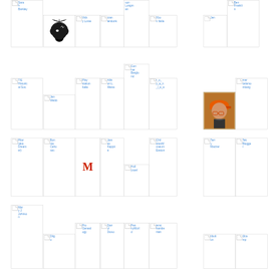[Figure (screenshot): Grid of social media follower/following avatars with icons and names including Sarah Barkley, brain logo, Vicky Loras, craniendonk, son Longman, Xbox Italia, Jen, Ben Franklin, T/E Historical Soc., Jan Webb, Playstation Italia, Allison L. Weiss, Gunnar Berglund, r_o_y_a_n_l_e_e, orange cap photo, marcelomberg, Pilar (aka Dreamer), Bonnie Cahusac, Medium M logo, James Kappti e, Hollysuel, ChildrenMuseum Easton, Terry Mazzer, TekBlogger, Mary J. Johnson, Diigo, ProGenealogy, Darryl Dioso, PennyWorld, wmchamberlain, tlbolton, i3camp, Kare, Sim]